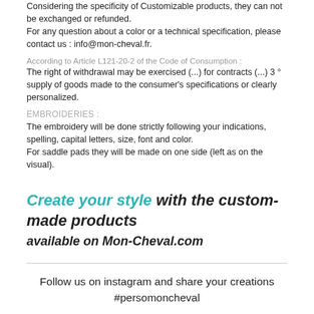Considering the specificity of Customizable products, they can not be exchanged or refunded.
For any question about a color or a technical specification, please contact us : info@mon-cheval.fr.
According to Article L121-20-2 of the Code of Consumption :
The right of withdrawal may be exercised (...) for contracts (...) 3 ° supply of goods made to the consumer's specifications or clearly personalized.
EMBROIDERIES :
The embroidery will be done strictly following your indications, spelling, capital letters, size, font and color.
For saddle pads they will be made on one side (left as on the visual).
Create your style with the custom-made products available on Mon-Cheval.com
Follow us on instagram and share your creations
#persomoncheval

#persomoncheval